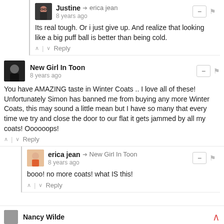Its real tough. Or i just give up. And realize that looking like a big puff ball is better than being cold.
Justine → erica jean
8 years ago
Its real tough. Or i just give up. And realize that looking like a big puff ball is better than being cold.
New Girl In Toon
8 years ago
You have AMAZING taste in Winter Coats .. I love all of these! Unfortunately Simon has banned me from buying any more Winter Coats, this may sound a little mean but I have so many that every time we try and close the door to our flat it gets jammed by all my coats! Oooooops!
erica jean → New Girl In Toon
8 years ago
booo! no more coats! what IS this!
Nancy Wilde